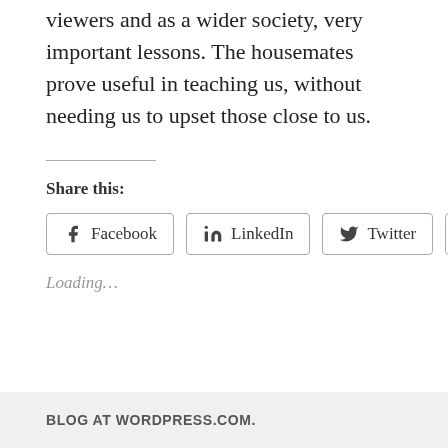viewers and as a wider society, very important lessons. The housemates prove useful in teaching us, without needing us to upset those close to us.
Share this:
[Figure (other): Social share buttons: Facebook, LinkedIn, Twitter, More]
Loading…
BLOG AT WORDPRESS.COM.